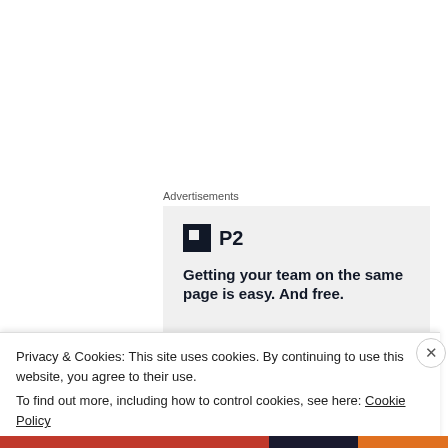Advertisements
[Figure (other): P2 advertisement banner with logo and tagline: Getting your team on the same page is easy. And free.]
It was the summer of 1989. I was struggling (or should I...
Privacy & Cookies: This site uses cookies. By continuing to use this website, you agree to their use.
To find out more, including how to control cookies, see here: Cookie Policy
Close and accept